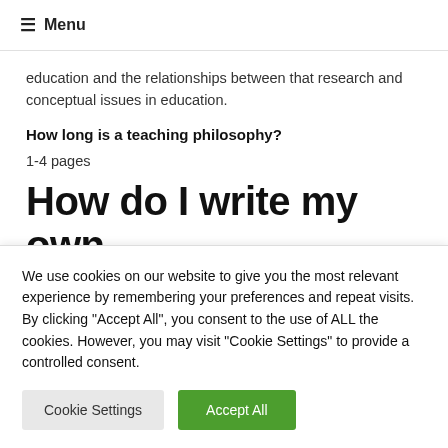☰ Menu
education and the relationships between that research and conceptual issues in education.
How long is a teaching philosophy?
1-4 pages
How do I write my own
We use cookies on our website to give you the most relevant experience by remembering your preferences and repeat visits. By clicking "Accept All", you consent to the use of ALL the cookies. However, you may visit "Cookie Settings" to provide a controlled consent.